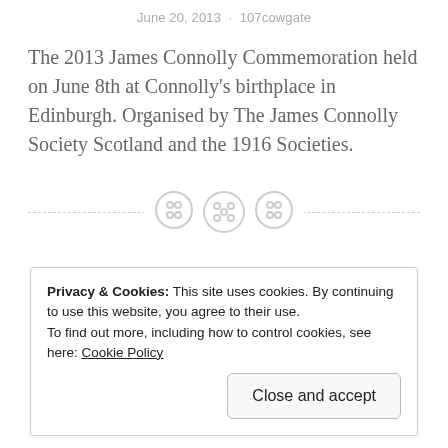June 20, 2013 · 107cowgate
The 2013 James Connolly Commemoration held on June 8th at Connolly's birthplace in Edinburgh. Organised by The James Connolly Society Scotland and the 1916 Societies.
[Figure (other): Horizontal dashed divider line with three circular social-share icons centered on it]
[Figure (photo): Partial view of a green banner/poster with a white silhouette figure, part of a James Connolly commemoration image]
Privacy & Cookies: This site uses cookies. By continuing to use this website, you agree to their use.
To find out more, including how to control cookies, see here: Cookie Policy
Close and accept